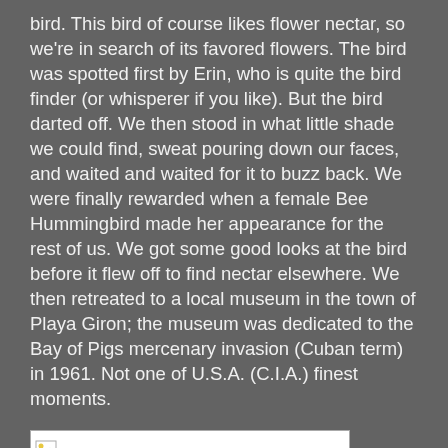bird.  This bird of course likes flower nectar, so we're in search of its favored flowers.  The bird was spotted first by Erin, who is quite the bird finder (or whisperer if you like).  But the bird darted off.  We then stood in what little shade we could find, sweat pouring down our faces, and waited and waited for it to buzz back.  We were finally rewarded when a female Bee Hummingbird made her appearance for the rest of us.  We got some good looks at the bird before it flew off to find nectar elsewhere.  We then retreated to a local museum in the town of Playa Giron; the museum was dedicated to the Bay of Pigs mercenary invasion (Cuban term) in 1961.  Not one of U.S.A. (C.I.A.) finest moments.
[Figure (other): A broken/missing image placeholder with a small image icon in the top-left corner and a white rectangular background with a border]